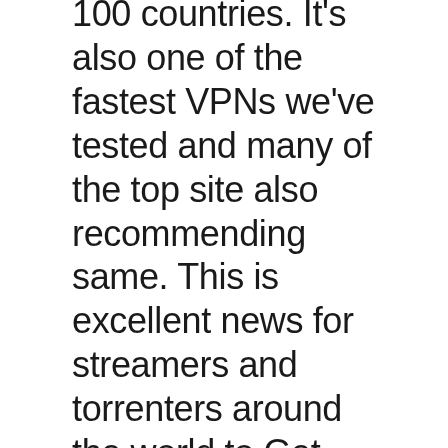100 countries. It's also one of the fastest VPNs we've tested and many of the top site also recommending same. This is excellent news for streamers and torrenters around the world to Get ExpressVPN and Enjoy the Football online.
ExpressVPN can help you access your favorite content, even on platforms that don't support VPNs. Thanks to the MediaStreamer feature and